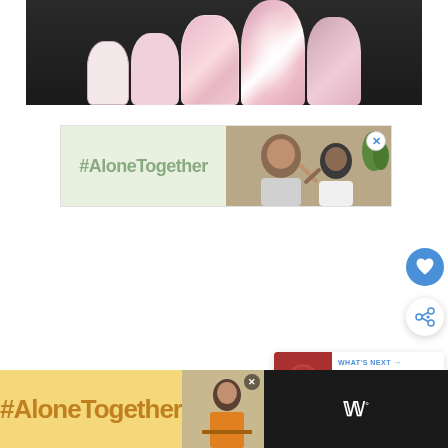[Figure (photo): Close-up photo of manicured fingernails with glitter pink and white nail art on dark background]
[Figure (infographic): Advertisement banner with #AloneTogether text on light green background and photo of man and child on video call, with X close button]
[Figure (infographic): Floating heart favorite button (blue circle)]
[Figure (infographic): Floating share button (white circle with share icon)]
[Figure (infographic): What's Next panel showing skin peeling on fingers article with thumbnail]
[Figure (infographic): Bottom advertisement banner with #AloneTogether text in orange on yellow background and photo, with X close button, and Wattpad logo on dark background]